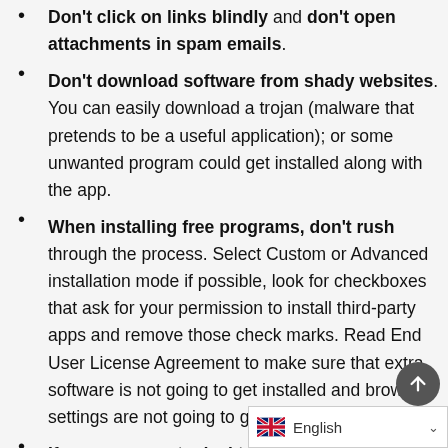Don't click on links blindly and don't open attachments in spam emails.
Don't download software from shady websites. You can easily download a trojan (malware that pretends to be a useful application); or some unwanted program could get installed along with the app.
When installing free programs, don't rush through the process. Select Custom or Advanced installation mode if possible, look for checkboxes that ask for your permission to install third-party apps and remove those check marks. Read End User License Agreement to make sure that extra software is not going to get installed and browser settings are not going to get changed.
If you use remote desktop…